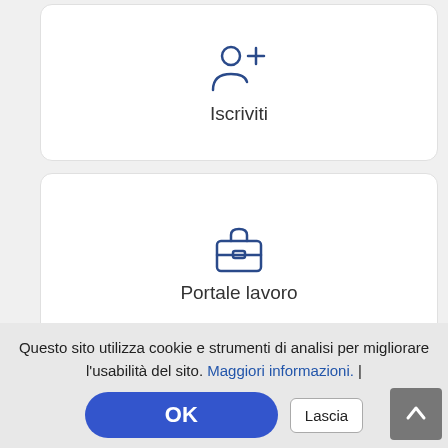[Figure (screenshot): Mobile website UI showing navigation menu cards: Iscriviti (user+ icon), Portale lavoro (briefcase icon), Eventi (calendar icon), and a partially visible fourth card with a paper plane icon. A cookie consent banner overlays the bottom with OK and Lascia buttons.]
Iscriviti
Portale lavoro
Eventi
Questo sito utilizza cookie e strumenti di analisi per migliorare l'usabilità del sito. Maggiori informazioni. |
OK
Lascia